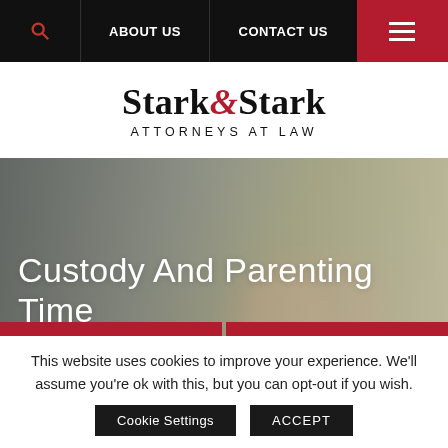ABOUT US | CONTACT US
STARK & STARK ATTORNEYS AT LAW
[Figure (photo): Background hero photo showing a blurred person in a yellow-green top with hands visible, overlaid with large white text reading 'Custody And Parenting Time', and two red call-to-action buttons: 'TAP TO CALL' and 'DIRECTIONS']
This website uses cookies to improve your experience. We'll assume you're ok with this, but you can opt-out if you wish.
Cookie Settings   ACCEPT